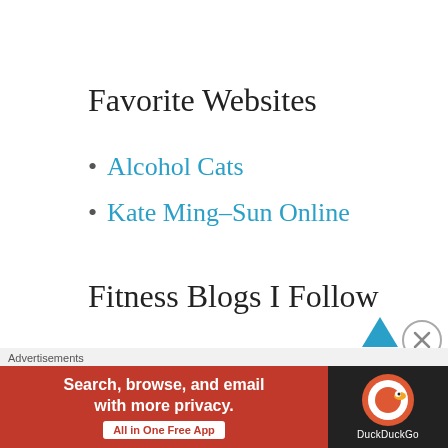Favorite Websites
Alcohol Cats
Kate Ming–Sun Online
Fitness Blogs I Follow
Chasing the Kenyans
Jill Will Run
Advertisements
[Figure (other): DuckDuckGo advertisement banner: 'Search, browse, and email with more privacy. All in One Free App' with DuckDuckGo logo on dark background]